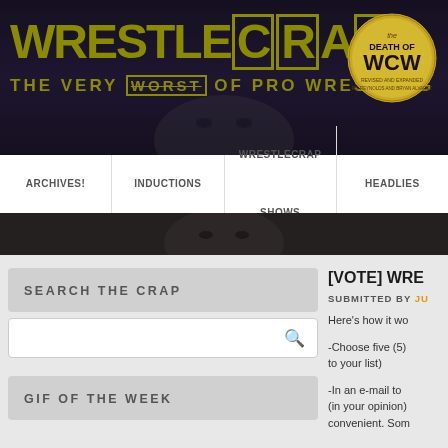[Figure (screenshot): WrestleCrap website header banner with logo text 'WRESTLECRAP' and subtitle 'THE VERY WORST OF PRO WRESTLING' in olive/gold color on dark background. Death of WCW circular badge on the right.]
ARCHIVES! | INDUCTIONS | WRESTLECRAP SHOWS | HEADLIES
[VOTE] WRE...
SUBMITTED BY JU
Here's how it wo
-Choose five (5) to your list)
-In an e-mail to (in your opinion) convenient. Som